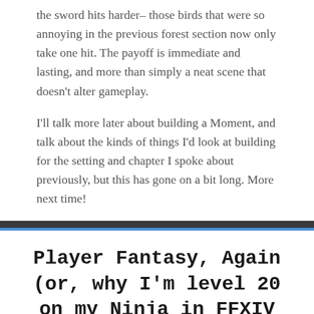the sword hits harder– those birds that were so annoying in the previous forest section now only take one hit. The payoff is immediate and lasting, and more than simply a neat scene that doesn't alter gameplay.
I'll talk more later about building a Moment, and talk about the kinds of things I'd look at building for the setting and chapter I spoke about previously, but this has gone on a bit long. More next time!
Player Fantasy, Again (or, why I'm level 20 on my Ninja in FFXIV in just a few hours)
OCTOBER 28, 2014 BY TAMRIELO · 0 COMMENT